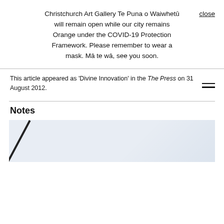Christchurch Art Gallery Te Puna o Waiwhetū will remain open while our city remains Orange under the COVID-19 Protection Framework. Please remember to wear a mask. Mā te wā, see you soon.
close
This article appeared as 'Divine Innovation' in the The Press on 31 August 2012.
Notes
[Figure (photo): Partial view of an artwork with a dark diagonal line across a light blue-white surface]